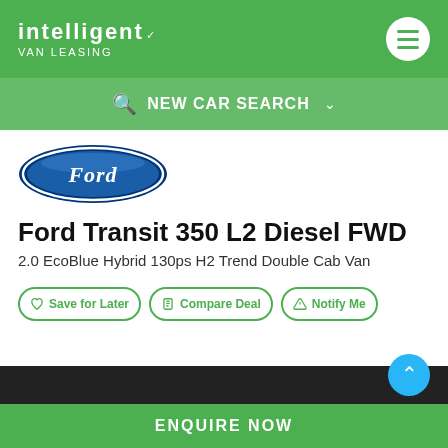intelligent VAN LEASING
NEW CAR SEARCH
[Figure (logo): Ford oval blue logo with Ford script lettering in white]
Ford Transit 350 L2 Diesel FWD
2.0 EcoBlue Hybrid 130ps H2 Trend Double Cab Van
Save for Later   Compare Deal   Notify Me
ENQUIRE NOW